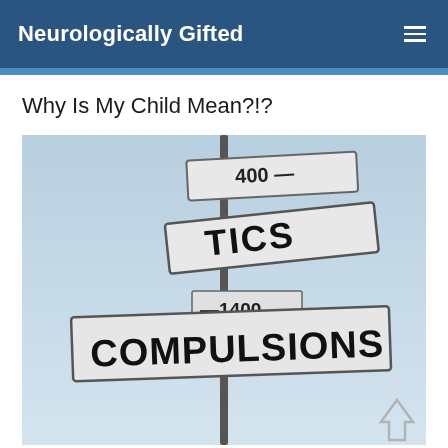Neurologically Gifted
Why Is My Child Mean?!?
[Figure (photo): A photograph of multiple street signs mounted on a pole against a blue sky. The signs read 'TICS', 'COMPULSIONS', and '400' block numbers, arranged in a crossed-street-sign style.]